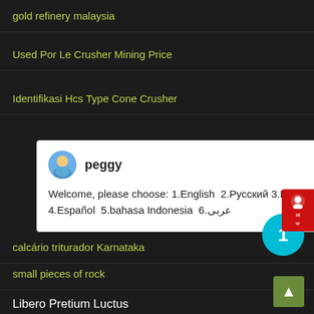gold refinery malaysia
Used Por Le Crusher Mining Price
Identifikasi Hcs Type Cone Crusher
[Figure (screenshot): Chat popup with avatar of peggy, welcome message offering language choices: 1.English 2.Русский 3.Français 4.Español 5.bahasa Indonesia 6.عربى]
calcário triturador Karnataka
small pieces of rock
Libero Pretium Luctus